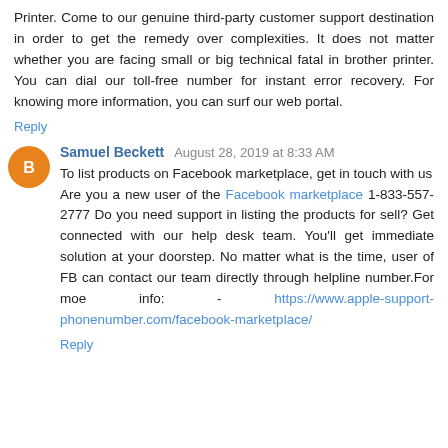Printer. Come to our genuine third-party customer support destination in order to get the remedy over complexities. It does not matter whether you are facing small or big technical fatal in brother printer. You can dial our toll-free number for instant error recovery. For knowing more information, you can surf our web portal.
Reply
Samuel Beckett  August 28, 2019 at 8:33 AM
To list products on Facebook marketplace, get in touch with us
Are you a new user of the Facebook marketplace 1-833-557-2777 Do you need support in listing the products for sell? Get connected with our help desk team. You'll get immediate solution at your doorstep. No matter what is the time, user of FB can contact our team directly through helpline number.For moe info: - https://www.apple-support-phonenumber.com/facebook-marketplace/
Reply